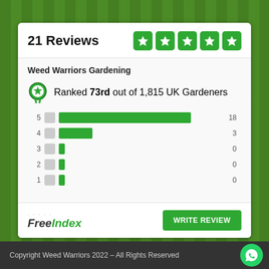21 Reviews
Weed Warriors Gardening
Ranked 73rd out of 1,815 UK Gardeners
[Figure (bar-chart): Star rating distribution]
[Figure (logo): FreeIndex logo]
WRITE REVIEW
Copyright Weed Warriors 2022 – All Rights Reserved